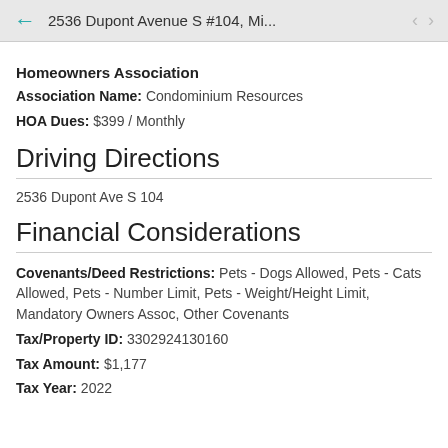2536 Dupont Avenue S #104, Mi...
Homeowners Association
Association Name: Condominium Resources
HOA Dues: $399 / Monthly
Driving Directions
2536 Dupont Ave S 104
Financial Considerations
Covenants/Deed Restrictions: Pets - Dogs Allowed, Pets - Cats Allowed, Pets - Number Limit, Pets - Weight/Height Limit, Mandatory Owners Assoc, Other Covenants
Tax/Property ID: 3302924130160
Tax Amount: $1,177
Tax Year: 2022